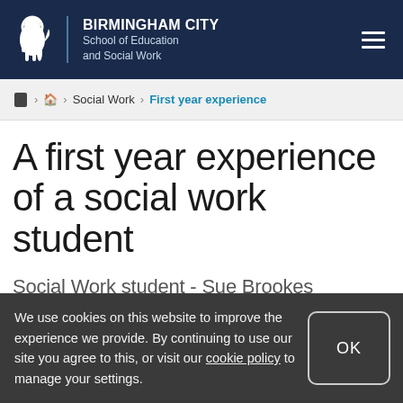BIRMINGHAM CITY School of Education and Social Work
🦁 > 🏠 > Social Work > First year experience
A first year experience of a social work student
Social Work student - Sue Brookes
We use cookies on this website to improve the experience we provide. By continuing to use our site you agree to this, or visit our cookie policy to manage your settings.